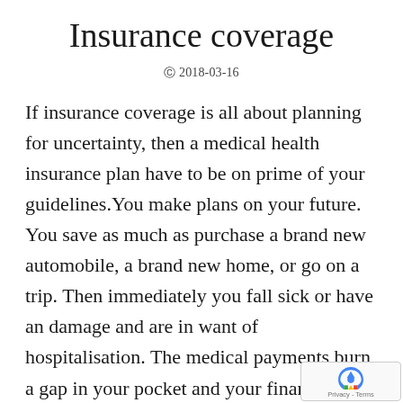Insurance coverage
© 2018-03-16
If insurance coverage is all about planning for uncertainty, then a medical health insurance plan have to be on prime of your guidelines.You make plans on your future. You save as much as purchase a brand new automobile, a brand new home, or go on a trip. Then immediately you fall sick or have an damage and are in want of hospitalisation. The medical payments burn a gap in your pocket and your financial savings are diminished. common information that medical bills are